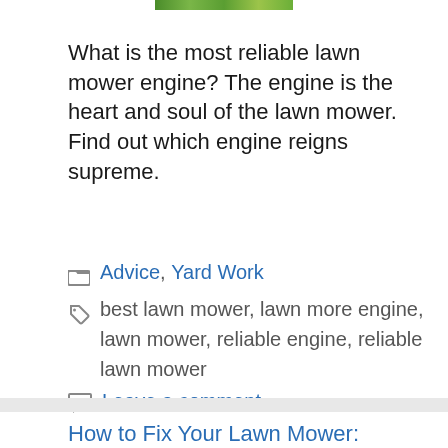[Figure (photo): Partial image strip at top showing green lawn/grass]
What is the most reliable lawn mower engine? The engine is the heart and soul of the lawn mower. Find out which engine reigns supreme.
Categories: Advice, Yard Work
Tags: best lawn mower, lawn more engine, lawn mower, reliable engine, reliable lawn mower
Leave a comment
How to Fix Your Lawn Mower: